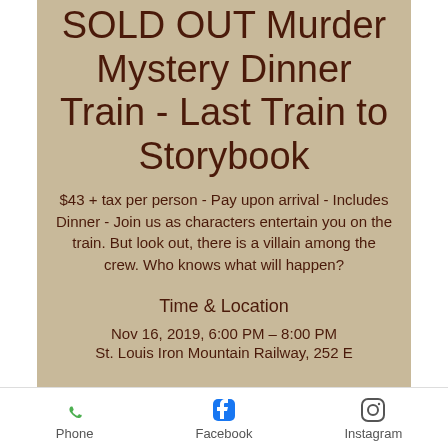SOLD OUT Murder Mystery Dinner Train - Last Train to Storybook
$43 + tax per person - Pay upon arrival - Includes Dinner - Join us as characters entertain you on the train. But look out, there is a villain among the crew. Who knows what will happen?
Time & Location
Nov 16, 2019, 6:00 PM – 8:00 PM
St. Louis Iron Mountain Railway, 252 E
Phone  Facebook  Instagram